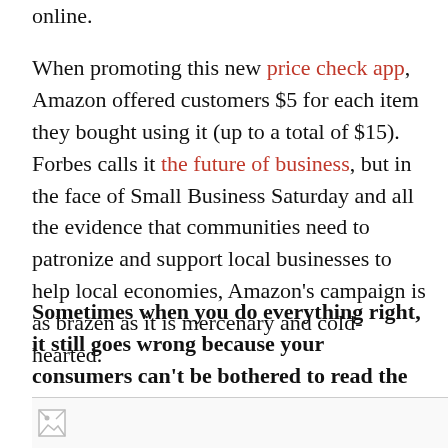online.
When promoting this new price check app, Amazon offered customers $5 for each item they bought using it (up to a total of $15). Forbes calls it the future of business, but in the face of Small Business Saturday and all the evidence that communities need to patronize and support local businesses to help local economies, Amazon's campaign is as brazen as it is mercenary and cold-hearted.
Sometimes when you do everything right, it still goes wrong because your consumers can't be bothered to read the label.
[Figure (photo): Partial image stub visible at bottom of page, showing a small broken image icon]